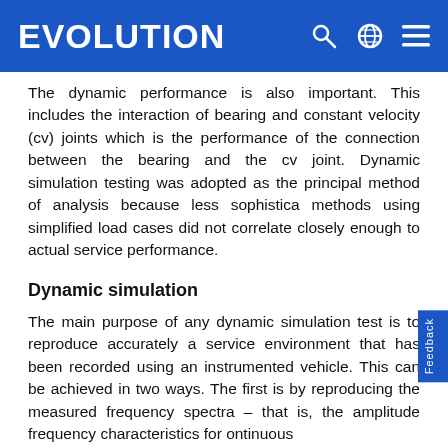EVOLUTION
The dynamic performance is also important. This includes the interaction of bearing and constant velocity (cv) joints which is the performance of the connection between the bearing and the cv joint. Dynamic simulation testing was adopted as the principal method of analysis because less sophisticated methods using simplified load cases did not correlate closely enough to actual service performance.
Dynamic simulation
The main purpose of any dynamic simulation test is to reproduce accurately a service environment that has been recorded using an instrumented vehicle. This can be achieved in two ways. The first is by reproducing the measured frequency spectra – that is, the amplitude frequency characteristics forontinuous...